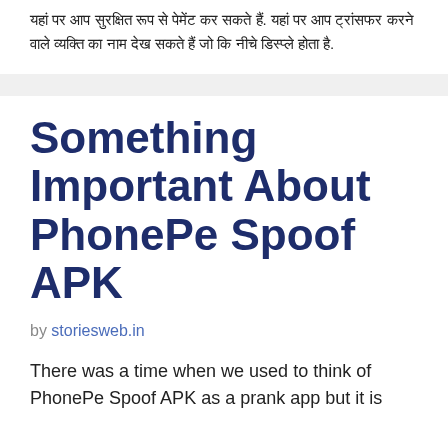यहां पर आप सुरक्षित रूप से पेमेंट कर सकते हैं. यहां पर आप ट्रांसफर करने वाले व्यक्ति का नाम देख सकते हैं जो कि नीचे डिस्प्ले होता है.
Something Important About PhonePe Spoof APK
by storiesweb.in
There was a time when we used to think of PhonePe Spoof APK as a prank app but it is not because it is not the same. Today we have